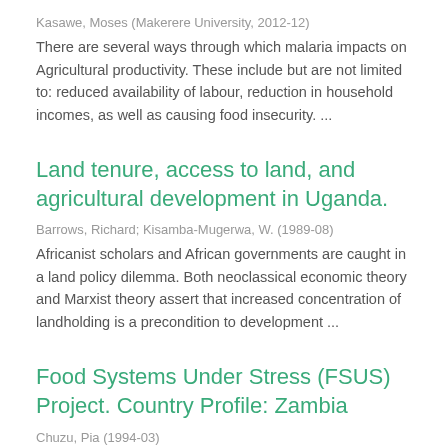Kasawe, Moses (Makerere University, 2012-12)
There are several ways through which malaria impacts on Agricultural productivity. These include but are not limited to: reduced availability of labour, reduction in household incomes, as well as causing food insecurity. ...
Land tenure, access to land, and agricultural development in Uganda.
Barrows, Richard; Kisamba-Mugerwa, W. (1989-08)
Africanist scholars and African governments are caught in a land policy dilemma. Both neoclassical economic theory and Marxist theory assert that increased concentration of landholding is a precondition to development ...
Food Systems Under Stress (FSUS) Project. Country Profile: Zambia
Chuzu, Pia (1994-03)
This paper is one in a series of five from participating countries in